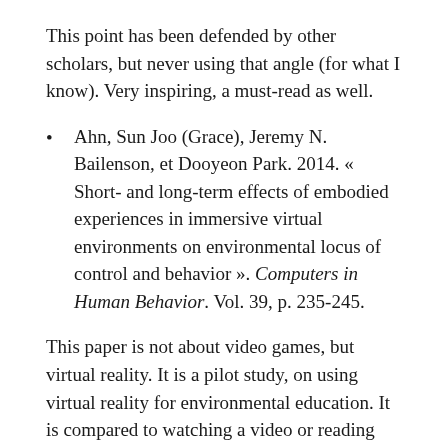This point has been defended by other scholars, but never using that angle (for what I know). Very inspiring, a must-read as well.
Ahn, Sun Joo (Grace), Jeremy N. Bailenson, et Dooyeon Park. 2014. « Short- and long-term effects of embodied experiences in immersive virtual environments on environmental locus of control and behavior ». Computers in Human Behavior. Vol. 39, p. 235-245.
This paper is not about video games, but virtual reality. It is a pilot study, on using virtual reality for environmental education. It is compared to watching a video or reading about